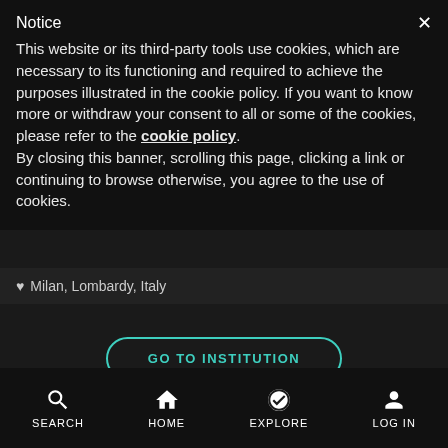Notice
This website or its third-party tools use cookies, which are necessary to its functioning and required to achieve the purposes illustrated in the cookie policy. If you want to know more or withdraw your consent to all or some of the cookies, please refer to the cookie policy.
By closing this banner, scrolling this page, clicking a link or continuing to browse otherwise, you agree to the use of cookies.
Milan, Lombardy, Italy
[Figure (screenshot): GO TO INSTITUTION button with teal/cyan border on dark background]
[Figure (screenshot): Share/forward icon button (circular gray button with arrow)]
SEARCH  HOME  EXPLORE  LOG IN